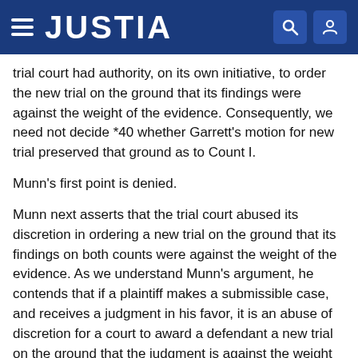JUSTIA
trial court had authority, on its own initiative, to order the new trial on the ground that its findings were against the weight of the evidence. Consequently, we need not decide *40 whether Garrett's motion for new trial preserved that ground as to Count I.
Munn's first point is denied.
Munn next asserts that the trial court abused its discretion in ordering a new trial on the ground that its findings on both counts were against the weight of the evidence. As we understand Munn's argument, he contends that if a plaintiff makes a submissible case, and receives a judgment in his favor, it is an abuse of discretion for a court to award a defendant a new trial on the ground that the judgment is against the weight of the evidence. Munn says he made a submissible case on